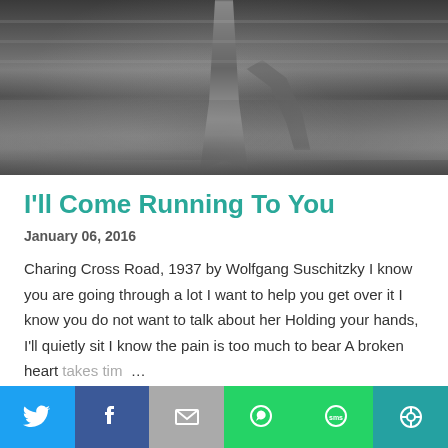[Figure (photo): Black and white photo showing legs of a person walking or running on steps/ground, taken from waist down, cropped at top of page]
I'll Come Running To You
January 06, 2016
Charing Cross Road, 1937 by Wolfgang Suschitzky I know you are going through a lot I want to help you get over it I know you do not want to talk about her Holding your hands, I'll quietly sit I know the pain is too much to bear A broken heart takes tim …
24 COMMENTS
READ MORE
[Figure (infographic): Social sharing bar with six buttons: Twitter (blue bird icon), Facebook (blue f icon), Email (grey envelope icon), WhatsApp (green phone icon), SMS (green SMS bubble icon), More (teal circular icon)]